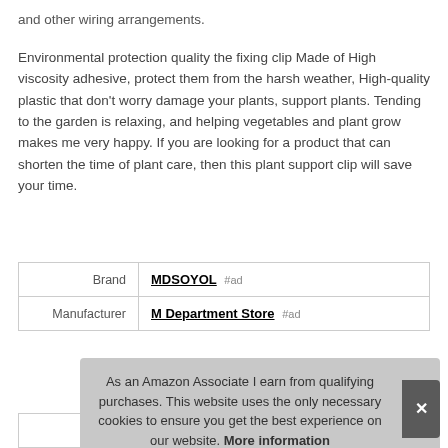and other wiring arrangements.
Environmental protection quality the fixing clip Made of High viscosity adhesive, protect them from the harsh weather, High-quality plastic that don't worry damage your plants, support plants. Tending to the garden is relaxing, and helping vegetables and plant grow makes me very happy. If you are looking for a product that can shorten the time of plant care, then this plant support clip will save your time.
| Brand | MDSOYOL #ad |
| Manufacturer | M Department Store #ad |
As an Amazon Associate I earn from qualifying purchases. This website uses the only necessary cookies to ensure you get the best experience on our website. More information
| Width | 0.5 Inches |